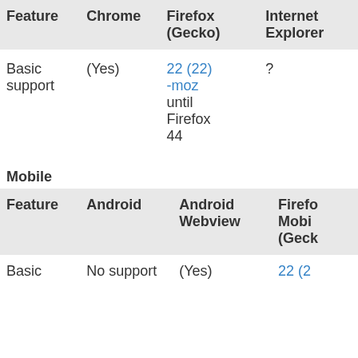| Feature | Chrome | Firefox (Gecko) | Internet Explorer |
| --- | --- | --- | --- |
| Basic support | (Yes) | 22 (22) -moz until Firefox 44 | ? |
Mobile
| Feature | Android | Android Webview | Firefox Mobile (Gecko) |
| --- | --- | --- | --- |
| Basic | No support | (Yes) | 22 (2... |